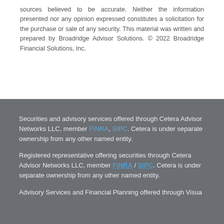sources believed to be accurate. Neither the information presented nor any opinion expressed constitutes a solicitation for the purchase or sale of any security. This material was written and prepared by Broadridge Advisor Solutions. © 2022 Broadridge Financial Solutions, Inc.
Securities and advisory services offered through Cetera Advisor Networks LLC, member FINRA, SIPC. Cetera is under separate ownership from any other named entity.
Registered representative offering securities through Cetera Advisor Networks LLC, member FINRA / SIPC. Cetera is under separate ownership from any other named entity.
Advisory Services and Financial Planning offered through Visua...